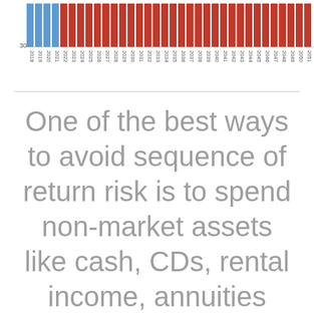[Figure (bar-chart): Year-by-year bar chart 2018-2052]
One of the best ways to avoid sequence of return risk is to spend non-market assets like cash, CDs, rental income, annuities...